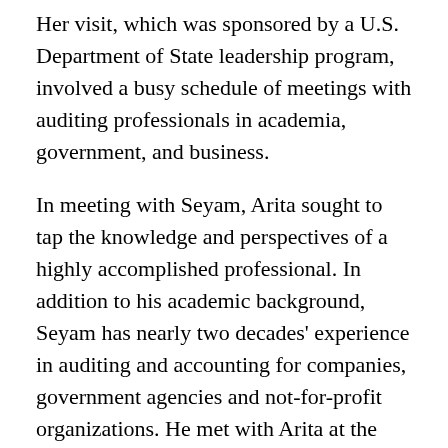Her visit, which was sponsored by a U.S. Department of State leadership program, involved a busy schedule of meetings with auditing professionals in academia, government, and business.
In meeting with Seyam, Arita sought to tap the knowledge and perspectives of a highly accomplished professional. In addition to his academic background, Seyam has nearly two decades' experience in auditing and accounting for companies, government agencies and not-for-profit organizations. He met with Arita at the college on February 19.
“In order to do performance auditing for the government, you actually need more knowledge and